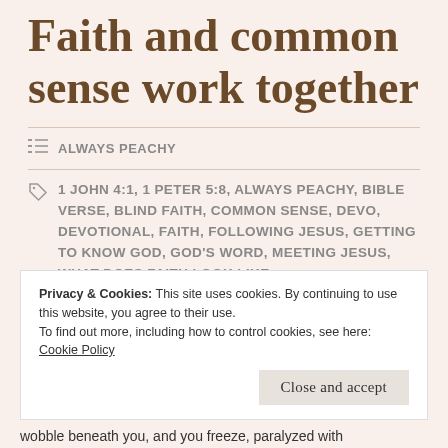Faith and common sense work together
ALWAYS PEACHY
1 JOHN 4:1, 1 PETER 5:8, ALWAYS PEACHY, BIBLE VERSE, BLIND FAITH, COMMON SENSE, DEVO, DEVOTIONAL, FAITH, FOLLOWING JESUS, GETTING TO KNOW GOD, GOD'S WORD, MEETING JESUS, WHAT DOES FAITH LOOK LIKE
Privacy & Cookies: This site uses cookies. By continuing to use this website, you agree to their use.
To find out more, including how to control cookies, see here: Cookie Policy
Close and accept
wobble beneath you, and you freeze, paralyzed with